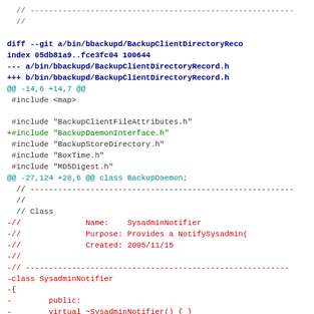// ---
//
diff --git a/bin/bbackupd/BackupClientDirectoryReco
index 05db81a9..fce3fc04 100644
--- a/bin/bbackupd/BackupClientDirectoryRecord.h
+++ b/bin/bbackupd/BackupClientDirectoryRecord.h
@@ -14,6 +14,7 @@
 #include <map>

 #include "BackupClientFileAttributes.h"
+#include "BackupDaemonInterface.h"
 #include "BackupStoreDirectory.h"
 #include "BoxTime.h"
 #include "MD5Digest.h"
@@ -27,124 +28,6 @@ class BackupDaemon;
  // ---
  //
  // Class
 -//              Name:    SysadminNotifier
 -//              Purpose: Provides a NotifySysadmin(
 -//              Created: 2005/11/15
 -//
 -// ---
 -class SysadminNotifier
 -{
 -        public:
 -        virtual ~SysadminNotifier() { }
 -
 -        typedef enum